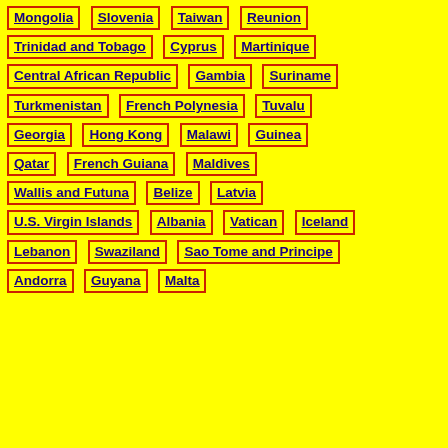Mongolia
Slovenia
Taiwan
Reunion
Trinidad and Tobago
Cyprus
Martinique
Central African Republic
Gambia
Suriname
Turkmenistan
French Polynesia
Tuvalu
Georgia
Hong Kong
Malawi
Guinea
Qatar
French Guiana
Maldives
Wallis and Futuna
Belize
Latvia
U.S. Virgin Islands
Albania
Vatican
Iceland
Lebanon
Swaziland
Sao Tome and Principe
Andorra
Guyana
Malta